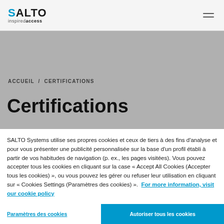SALTO inspired access
ACCUEIL / CERTIFICATIONS
Certifications
SALTO Systems utilise ses propres cookies et ceux de tiers à des fins d'analyse et pour vous présenter une publicité personnalisée sur la base d'un profil établi à partir de vos habitudes de navigation (p. ex., les pages visitées). Vous pouvez accepter tous les cookies en cliquant sur la case « Accept All Cookies (Accepter tous les cookies) », ou vous pouvez les gérer ou refuser leur utilisation en cliquant sur « Cookies Settings (Paramètres des cookies) ». For more information, visit our cookie policy
Paramètres des cookies
Autoriser tous les cookies